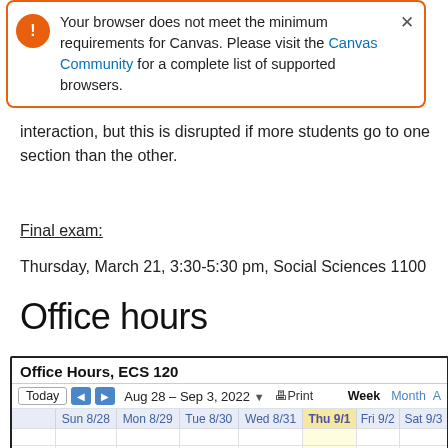[Figure (screenshot): Browser compatibility warning banner with orange border: 'Your browser does not meet the minimum requirements for Canvas. Please visit the Canvas Community for a complete list of supported browsers.' with a close (×) button.]
interaction, but this is disrupted if more students go to one section than the other.
Final exam:
Thursday, March 21, 3:30-5:30 pm, Social Sciences 1100
Office hours
[Figure (screenshot): Google Calendar widget showing 'Office Hours, ECS 120' for week of Aug 28 – Sep 3, 2022. Navigation bar with Today button, left/right arrows, date range, Print, Week, Month, and A view options. Calendar grid shows days Sun 8/28 through Sat 9/3 with Thu 9/1 highlighted. Time rows for 8am and 9am visible.]